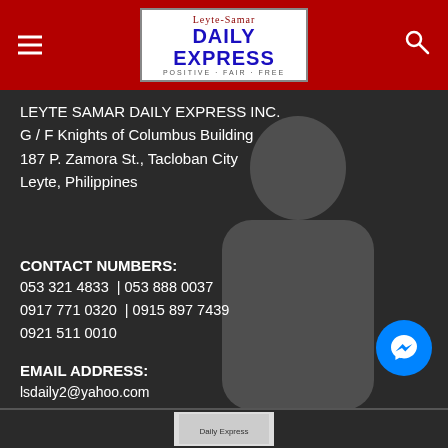Leyte-Samar DAILY EXPRESS — POSITIVE · FAIR · FREE
LEYTE SAMAR DAILY EXPRESS INC.
G / F Knights of Columbus Building
187 P. Zamora St., Tacloban City
Leyte, Philippines
CONTACT NUMBERS:
053 321 4833  | 053 888 0037
0917 771 0320  | 0915 897 7439
0921 511 0010
EMAIL ADDRESS:
lsdaily2@yahoo.com
aileen.grafil@leytesamardailynews.com